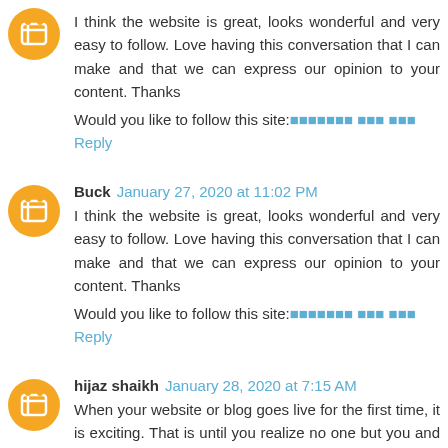I think the website is great, looks wonderful and very easy to follow. Love having this conversation that I can make and that we can express our opinion to your content. Thanks
Would you like to follow this site:[unrenderable text]
Reply
Buck  January 27, 2020 at 11:02 PM
I think the website is great, looks wonderful and very easy to follow. Love having this conversation that I can make and that we can express our opinion to your content. Thanks
Would you like to follow this site:[unrenderable text]
Reply
hijaz shaikh  January 28, 2020 at 7:15 AM
When your website or blog goes live for the first time, it is exciting. That is until you realize no one but you and your.